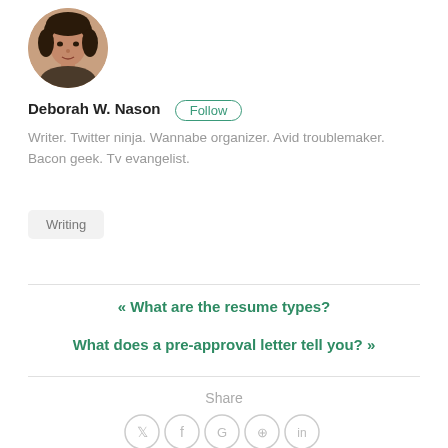[Figure (photo): Circular profile photo of Deborah W. Nason, a woman with dark hair]
Deborah W. Nason  Follow
Writer. Twitter ninja. Wannabe organizer. Avid troublemaker. Bacon geek. Tv evangelist.
Writing
« What are the resume types?
What does a pre-approval letter tell you? »
Share